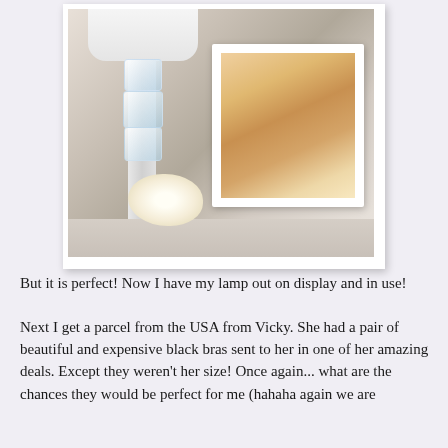[Figure (photo): A crystal lamp base with stacked faceted crystal orbs on a white surface, next to a white ornate photo frame containing a photo of a smiling young girl with curly hair, and a cream/white fabric flower in front.]
But it is perfect!  Now I have my lamp out on display and in use!
Next I get a parcel from the USA from Vicky.  She had a pair of beautiful and expensive black bras sent to her in one of her amazing deals.  Except they weren't her size!   Once again... what are the chances they would be perfect for me (hahaha again we are